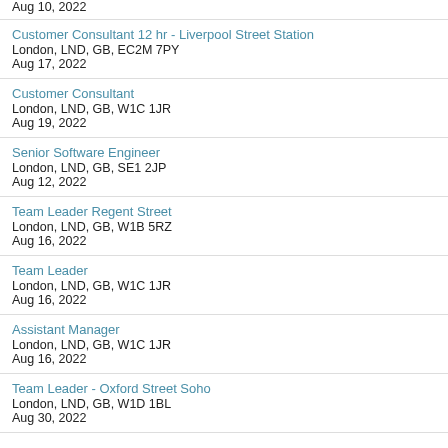Aug 10, 2022
Customer Consultant 12 hr - Liverpool Street Station
London, LND, GB, EC2M 7PY
Aug 17, 2022
Customer Consultant
London, LND, GB, W1C 1JR
Aug 19, 2022
Senior Software Engineer
London, LND, GB, SE1 2JP
Aug 12, 2022
Team Leader Regent Street
London, LND, GB, W1B 5RZ
Aug 16, 2022
Team Leader
London, LND, GB, W1C 1JR
Aug 16, 2022
Assistant Manager
London, LND, GB, W1C 1JR
Aug 16, 2022
Team Leader - Oxford Street Soho
London, LND, GB, W1D 1BL
Aug 30, 2022